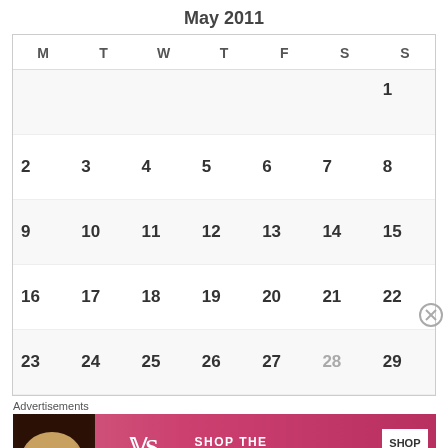May 2011
| M | T | W | T | F | S | S |
| --- | --- | --- | --- | --- | --- | --- |
|  |  |  |  |  |  | 1 |
| 2 | 3 | 4 | 5 | 6 | 7 | 8 |
| 9 | 10 | 11 | 12 | 13 | 14 | 15 |
| 16 | 17 | 18 | 19 | 20 | 21 | 22 |
| 23 | 24 | 25 | 26 | 27 | 28 | 29 |
Advertisements
[Figure (photo): Victoria's Secret advertisement banner with a model, VS logo, 'SHOP THE COLLECTION' text, and a 'SHOP NOW' button on a pink background.]